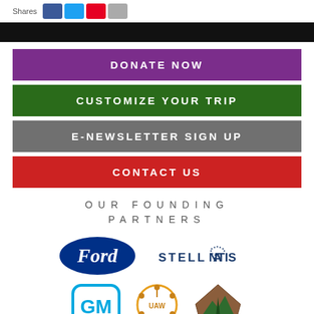[Figure (other): Social share buttons: Shares label with Facebook (blue), Twitter (light blue), Pinterest (red), Email (gray) share buttons]
[Figure (other): Black navigation/header bar]
DONATE NOW
CUSTOMIZE YOUR TRIP
E-NEWSLETTER SIGN UP
CONTACT US
OUR FOUNDING PARTNERS
[Figure (logo): Ford oval blue logo]
[Figure (logo): Stellantis logo in navy blue letters with dot pattern in the A]
[Figure (logo): GM blue rounded square logo]
[Figure (logo): UAW logo with figures around circle]
[Figure (logo): National Park Service arrowhead logo]